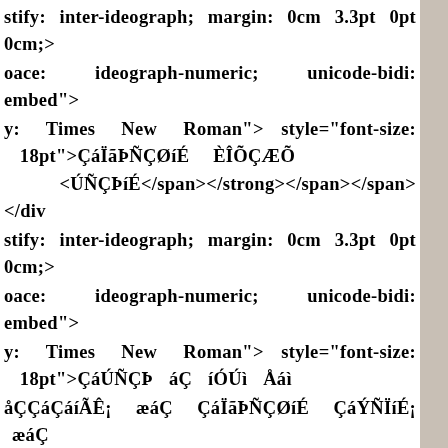stify: inter-ideograph; margin: 0cm 3.3pt 0pt 0cm;> oace: ideograph-numeric; unicode-bidi: embed"> y: Times New Roman"><span style="color: style="font-size: 18pt">ÇáÏãÞÑÇØíÉ ÈÎÕÇÆÕ <ÚÑÇÞíÉ</span></strong></span></span></div stify: inter-ideograph; margin: 0cm 3.3pt 0pt 0cm;> oace: ideograph-numeric; unicode-bidi: embed"> y: Times New Roman"><span style="color: style="font-size: 18pt">ÇáÚÑÇÞ áÇ íÓÚì Åáì ÇáÌÇááíÇÊ æááÇ ÇáÏãÞÑÇØíÉ ÇáÝÑÏíÉ¡ æááÇ ÈäÏíÇæÇÊ¡ æááÇ ÇáÏãÞÑÇØíÉ ÇáÊÑÒíÉ. ÝáÇ åÐÇ æ ÇæÎÌÏæÇÊ.</span></strong></span></span> <</div stify: inter-ideograph; margin: 0cm 3.3pt 0pt 0cm;> oace: ideograph-numeric; unicode-bidi: embed"> y: Times New Roman"><span style="color: